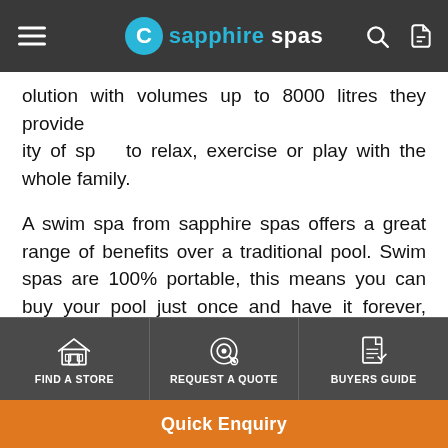sapphire spas navigation header
olution with volumes up to 8000 litres they provide ity of sp... to relax, exercise or play with the whole family.
A swim spa from sapphire spas offers a great range of benefits over a traditional pool. Swim spas are 100% portable, this means you can buy your pool just once and have it forever, even if you choose to move. Because they are portable they are self-contained, which means that there is no need for external plumbing, it also eliminates the need for expensive excavation work as with in-ground structures. Being self-contained removes the need for external piping, pumps, filters, or any other unsightly equipment that would otherwise clutter
FIND A STORE | REQUEST A QUOTE | BUYERS GUIDE | Quick Enquiry